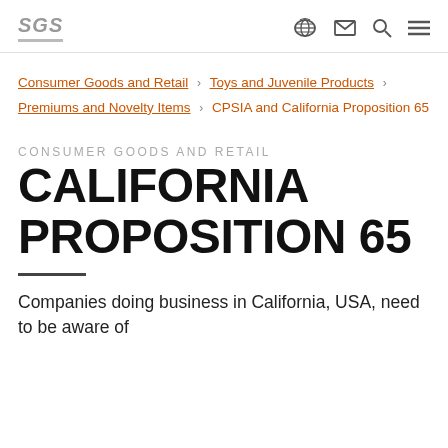SGS
Consumer Goods and Retail › Toys and Juvenile Products › Premiums and Novelty Items › CPSIA and California Proposition 65
CONSUMER GOODS AND RETAIL
CALIFORNIA PROPOSITION 65
Companies doing business in California, USA, need to be aware of